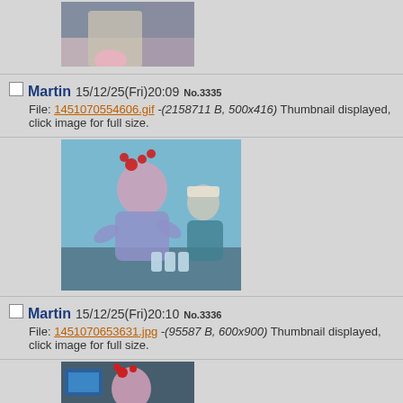[Figure (photo): Partial top of page showing a person in light colored outfit, cropped image at top of page]
Martin 15/12/25(Fri)20:09 No.3335
File: 1451070554606.gif -(2158711 B, 500x416) Thumbnail displayed, click image for full size.
[Figure (photo): Person with pink hair wearing reindeer antler headband and purple hoodie, making a heart sign with hands at what appears to be a fan event]
Martin 15/12/25(Fri)20:10 No.3336
File: 1451070653631.jpg -(95587 B, 600x900) Thumbnail displayed, click image for full size.
[Figure (photo): Person with pink hair wearing reindeer antler headband and white/purple outfit, partial view at bottom of page]